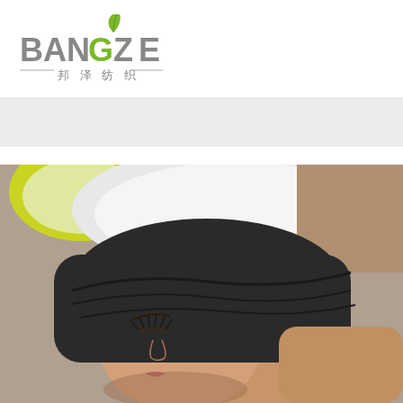[Figure (logo): Bangze (邦泽纺织) company logo with green leaf on top of the letter G]
[Figure (other): Language selector dropdown showing British flag and English text with dropdown chevron]
[Figure (photo): Woman at hair salon wash basin with black towel wrapped around her head, lying back at shampoo bowl with yellow/green and white basin visible]